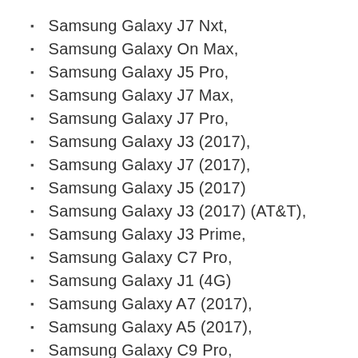Samsung Galaxy J7 Nxt,
Samsung Galaxy On Max,
Samsung Galaxy J5 Pro,
Samsung Galaxy J7 Max,
Samsung Galaxy J7 Pro,
Samsung Galaxy J3 (2017),
Samsung Galaxy J7 (2017),
Samsung Galaxy J5 (2017)
Samsung Galaxy J3 (2017) (AT&T),
Samsung Galaxy J3 Prime,
Samsung Galaxy C7 Pro,
Samsung Galaxy J1 (4G)
Samsung Galaxy A7 (2017),
Samsung Galaxy A5 (2017),
Samsung Galaxy C9 Pro,
Samsung Galaxy C9 Nxt…